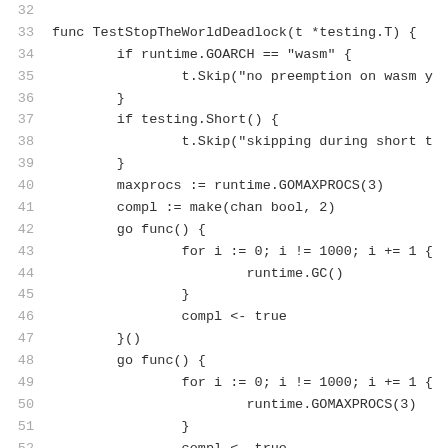32
33 func TestStopTheWorldDeadlock(t *testing.T) {
34     if runtime.GOARCH == "wasm" {
35         t.Skip("no preemption on wasm y
36     }
37     if testing.Short() {
38         t.Skip("skipping during short t
39     }
40     maxprocs := runtime.GOMAXPROCS(3)
41     compl := make(chan bool, 2)
42     go func() {
43         for i := 0; i != 1000; i += 1 {
44             runtime.GC()
45         }
46         compl <- true
47     }()
48     go func() {
49         for i := 0; i != 1000; i += 1 {
50             runtime.GOMAXPROCS(3)
51         }
52         compl <- true